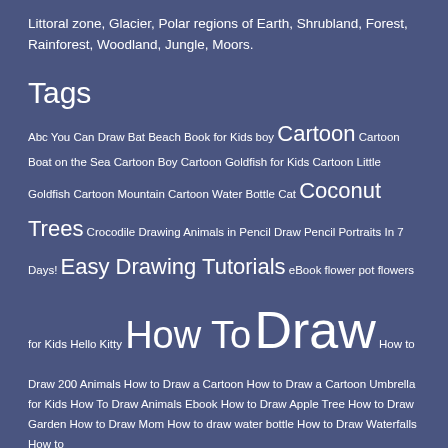Littoral zone, Glacier, Polar regions of Earth, Shrubland, Forest, Rainforest, Woodland, Jungle, Moors.
Tags
Abc You Can Draw Bat Beach Book for Kids boy Cartoon Cartoon Boat on the Sea Cartoon Boy Cartoon Goldfish for Kids Cartoon Little Goldfish Cartoon Mountain Cartoon Water Bottle Cat Coconut Trees Crocodile Drawing Animals in Pencil Draw Pencil Portraits In 7 Days! Easy Drawing Tutorials eBook flower pot flowers for Kids Hello Kitty How To Draw How to Draw 200 Animals How to Draw a Cartoon How to Draw a Cartoon Umbrella for Kids How To Draw Animals Ebook How to Draw Apple Tree How to Draw Garden How to Draw Mom How to draw water bottle How to Draw Waterfalls How to